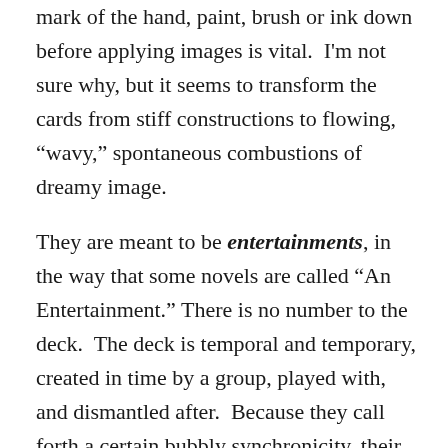mark of the hand, paint, brush or ink down before applying images is vital.  I'm not sure why, but it seems to transform the cards from stiff constructions to flowing, “wavy,” spontaneous combustions of dreamy image.
They are meant to be entertainments, in the way that some novels are called “An Entertainment.” There is no number to the deck.  The deck is temporal and temporary, created in time by a group, played with, and dismantled after.  Because they call forth a certain bubbly synchronicity, their accuracy can be astonishing, but unrepeatable.  Like an